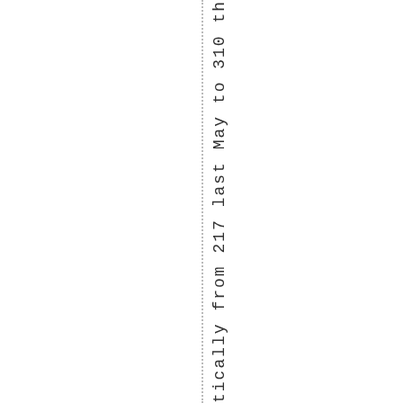tically from 217 last May to 310 this